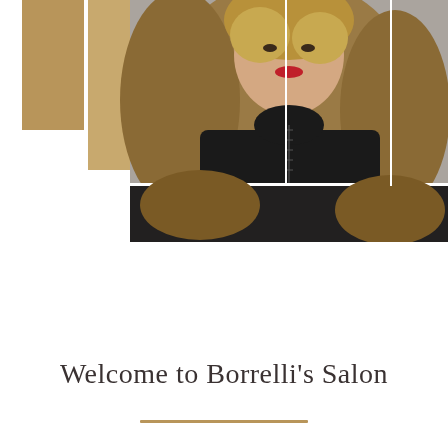[Figure (photo): Portrait photo of a woman with long wavy blonde/brunette highlighted hair, wearing a black jacket with zipper details and a black turtleneck. She has red lipstick. The image is split into two panels by a white horizontal line. Two gold/tan rectangular bars appear on the left side of the image area as decorative elements.]
Welcome to Borrelli's Salon